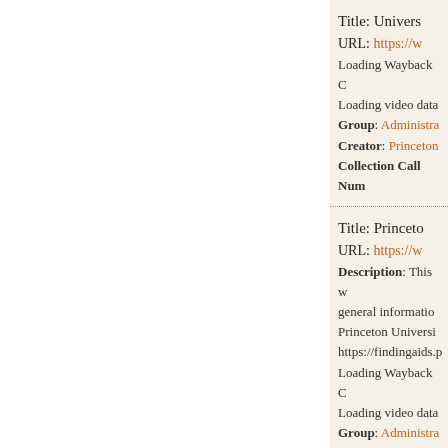Title: Univers...
URL: https://w...
Loading Wayback C...
Loading video data...
Group: Administra...
Creator: Princeton...
Collection Call Num...
Title: Princeto...
URL: https://w...
Description: This w... general informatio... Princeton Universi... https://findingaids.p... Loading Wayback C... Loading video data...
Group: Administra...
Creator: Princeton...
Call Number: AC1...
Title: Departm...